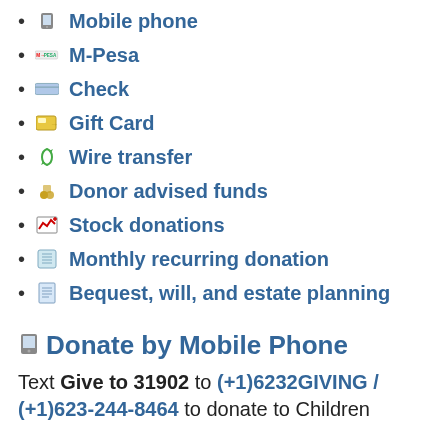Mobile phone
M-Pesa
Check
Gift Card
Wire transfer
Donor advised funds
Stock donations
Monthly recurring donation
Bequest, will, and estate planning
Donate by Mobile Phone
Text Give to 31902 to (+1)6232GIVING / (+1)623-244-8464 to donate to Children